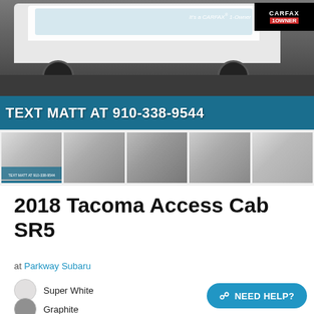[Figure (photo): White 2018 Toyota Tacoma Access Cab SR5 truck shown from front/side angle, parked on pebbled surface. Banner overlay reads TEXT MATT AT 910-338-9544 in white bold text on blue background. CARFAX 1-Owner badge in top right corner.]
[Figure (photo): Row of 5 thumbnail images of the same white Toyota Tacoma truck from various angles. First thumbnail is selected/highlighted with blue underline.]
2018 Tacoma Access Cab SR5
at Parkway Subaru
Super White
Graphite
NEED HELP?